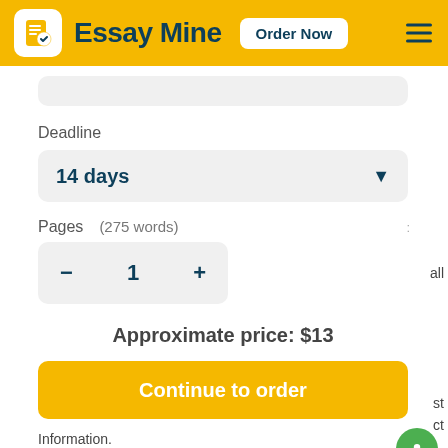Essay Mine  Order Now
Deadline
14 days
Pages   (275 words)
- 1 +
Approximate price: $13
Continue to order
Information.
3.5 (3.5%) – 3.5 (3.5%)